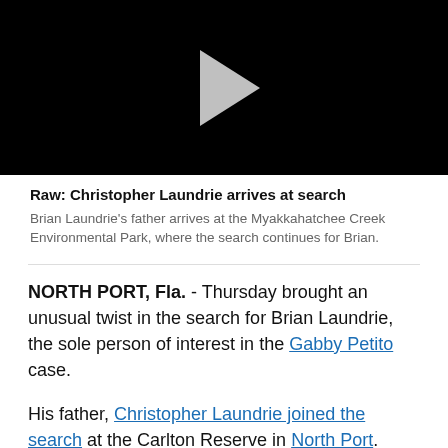[Figure (screenshot): Video thumbnail with black background and grey play button triangle]
Raw: Christopher Laundrie arrives at search
Brian Laundrie's father arrives at the Myakkahatchee Creek Environmental Park, where the search continues for Brian.
NORTH PORT, Fla. - Thursday brought an unusual twist in the search for Brian Laundrie, the sole person of interest in the Gabby Petito case.
His father, Christopher Laundrie joined the search at the Carlton Reserve in North Port.
He was seen going into the Myakkahatchee Creek Environmental Park where authorities continue to look for his son.